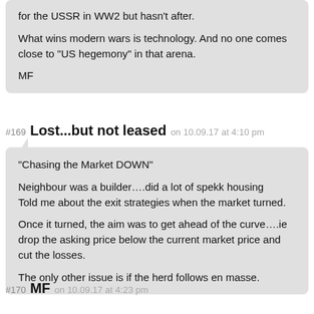for the USSR in WW2 but hasn't after.

What wins modern wars is technology. And no one comes close to “US hegemony” in that arena.

MF
#169 Lost...but not leased on 10.09.17 at 4:10 pm
“Chasing the Market DOWN”

Neighbour was a builder….did a lot of spekk housing
Told me about the exit strategies when the market turned.

Once it turned, the aim was to get ahead of the curve….ie drop the asking price below the current market price and cut the losses.

The only other issue is if the herd follows en masse.
#170 MF on 10.09.17 at 4:23 pm